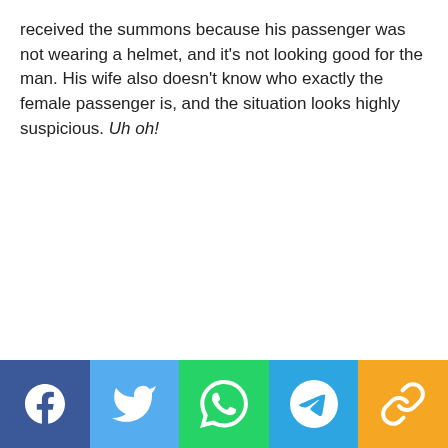received the summons because his passenger was not wearing a helmet, and it's not looking good for the man. His wife also doesn't know who exactly the female passenger is, and the situation looks highly suspicious. Uh oh!
[Figure (infographic): Social media share buttons bar at the bottom: Facebook (dark blue), Twitter (light blue), WhatsApp (green), Telegram (blue), Link/copy (yellow/orange)]